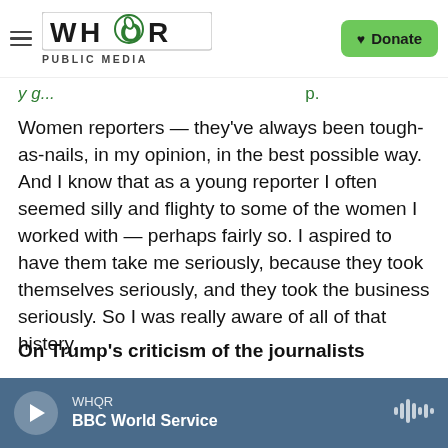WHQR PUBLIC MEDIA | Donate
Women reporters — they've always been tough-as-nails, in my opinion, in the best possible way. And I know that as a young reporter I often seemed silly and flighty to some of the women I worked with — perhaps fairly so. I aspired to have them take me seriously, because they took themselves seriously, and they took the business seriously. So I was really aware of all of that history.
On Trump's criticism of the journalists
I hold the President of the United States
WHQR | BBC World Service